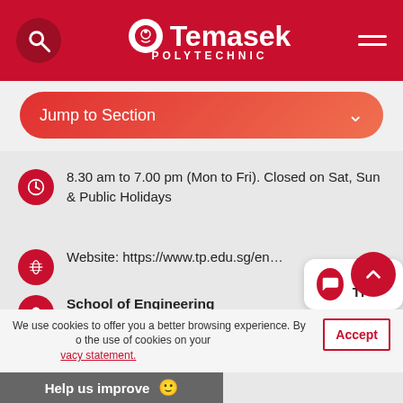[Figure (screenshot): Temasek Polytechnic website header with red background, search icon, logo, and hamburger menu]
Jump to Section
8.30 am to 7.00 pm (Mon to Fri). Closed on Sat, Sun & Public Holidays
Website: https://www.tp.edu.sg/en
School of Engineering
Temasek Polytechnic
West Wing Block 10-25A, 32-33
21 Tampines Ave 1
Singapore 529757
We use cookies to offer you a better browsing experience. By ... to the use of cookies on your ... vacy statement.
Help us improve 😊